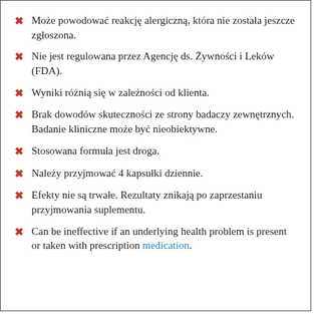Może powodować reakcję alergiczną, która nie została jeszcze zgłoszona.
Nie jest regulowana przez Agencję ds. Żywności i Leków (FDA).
Wyniki różnią się w zależności od klienta.
Brak dowodów skuteczności ze strony badaczy zewnętrznych. Badanie kliniczne może być nieobiektywne.
Stosowana formuła jest droga.
Należy przyjmować 4 kapsułki dziennie.
Efekty nie są trwałe. Rezultaty znikają po zaprzestaniu przyjmowania suplementu.
Can be ineffective if an underlying health problem is present or taken with prescription medication.